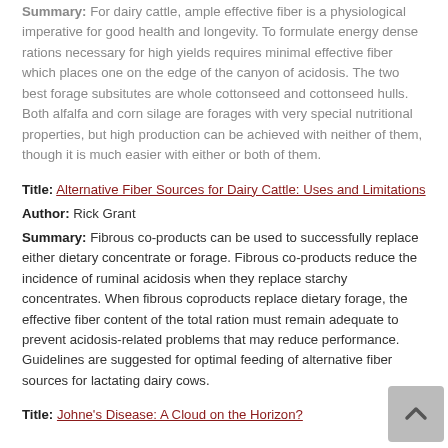Summary: For dairy cattle, ample effective fiber is a physiological imperative for good health and longevity. To formulate energy dense rations necessary for high yields requires minimal effective fiber which places one on the edge of the canyon of acidosis. The two best forage subsitutes are whole cottonseed and cottonseed hulls. Both alfalfa and corn silage are forages with very special nutritional properties, but high production can be achieved with neither of them, though it is much easier with either or both of them.
Title: Alternative Fiber Sources for Dairy Cattle: Uses and Limitations
Author: Rick Grant
Summary: Fibrous co-products can be used to successfully replace either dietary concentrate or forage. Fibrous co-products reduce the incidence of ruminal acidosis when they replace starchy concentrates. When fibrous coproducts replace dietary forage, the effective fiber content of the total ration must remain adequate to prevent acidosis-related problems that may reduce performance. Guidelines are suggested for optimal feeding of alternative fiber sources for lactating dairy cows.
Title: Johne's Disease: A Cloud on the Horizon?